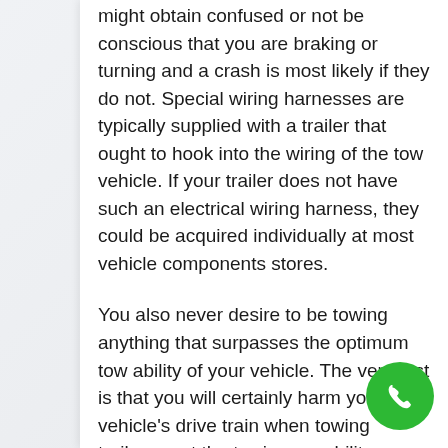might obtain confused or not be conscious that you are braking or turning and a crash is most likely if they do not. Special wiring harnesses are typically supplied with a trailer that ought to hook into the wiring of the tow vehicle. If your trailer does not have such an electrical wiring harness, they could be acquired individually at most vehicle components stores.
You also never desire to be towing anything that surpasses the optimum tow ability of your vehicle. The very first is that you will certainly harm your vehicle's drive train when towing trailers past the towing capability.
Finally, make certain that whatever you take place to be towing is safeguarded
[Figure (other): Green circular phone/call button icon in the bottom right corner]